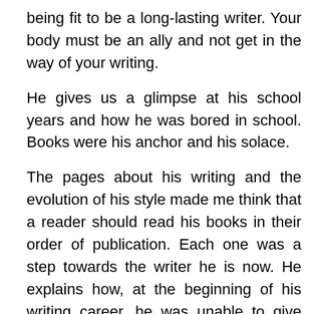being fit to be a long-lasting writer. Your body must be an ally and not get in the way of your writing.
He gives us a glimpse at his school years and how he was bored in school. Books were his anchor and his solace.
The pages about his writing and the evolution of his style made me think that a reader should read his books in their order of publication. Each one was a step towards the writer he is now. He explains how, at the beginning of his writing career, he was unable to give names to his characters. He comes back to the first time he thought he could pull off a third person narrative.
He talks about his readers and the imaginary bond he feels between his words and the people who read them and receive them. However, he recommends to write for